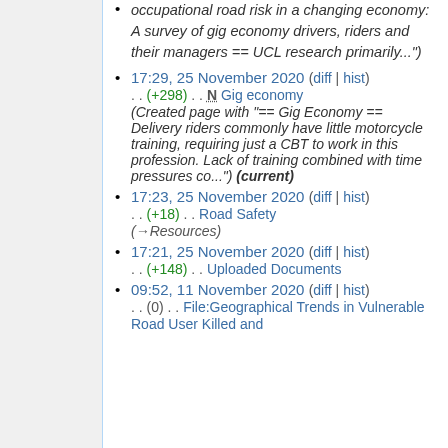occupational road risk in a changing economy: A survey of gig economy drivers, riders and their managers == UCL research primarily...")
17:29, 25 November 2020 (diff | hist) . . (+298) . . N Gig economy (Created page with "== Gig Economy == Delivery riders commonly have little motorcycle training, requiring just a CBT to work in this profession. Lack of training combined with time pressures co...") (current)
17:23, 25 November 2020 (diff | hist) . . (+18) . . Road Safety (→Resources)
17:21, 25 November 2020 (diff | hist) . . (+148) . . Uploaded Documents
09:52, 11 November 2020 (diff | hist) . . (0) . . File:Geographical Trends in Vulnerable Road User Killed and